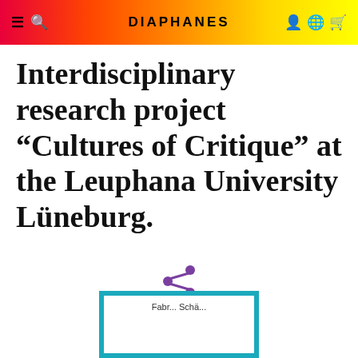DIAPHANES
Interdisciplinary research project “Cultures of Critique” at the Leuphana University Lüneburg.
[Figure (illustration): Share icon (purple network/share symbol)]
[Figure (illustration): Book card with teal/cyan border, white interior, partial author name visible at bottom]